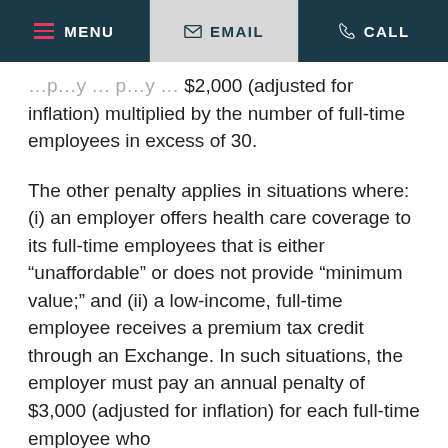MENU  EMAIL  CALL
$2,000 (adjusted for inflation) multiplied by the number of full-time employees in excess of 30.
The other penalty applies in situations where: (i) an employer offers health care coverage to its full-time employees that is either “unaffordable” or does not provide “minimum value;” and (ii) a low-income, full-time employee receives a premium tax credit through an Exchange. In such situations, the employer must pay an annual penalty of $3,000 (adjusted for inflation) for each full-time employee who